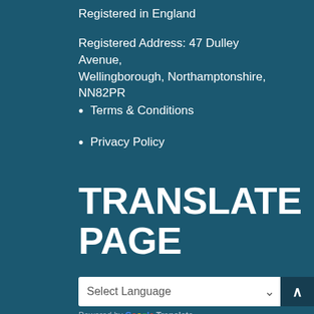Registered in England
Registered Address: 47 Dulley Avenue, Wellingborough, Northamptonshire, NN82PR
Terms & Conditions
Privacy Policy
TRANSLATE PAGE
Select Language
Powered by Google Translate
SUBSCRIBE TO BLOG VIA